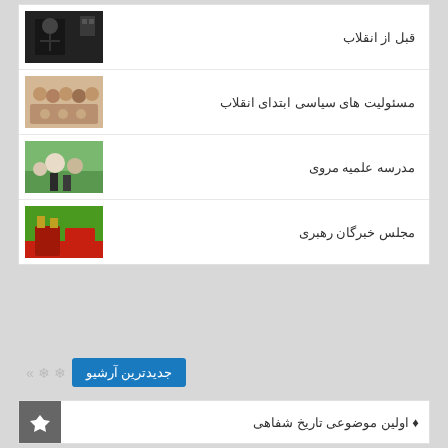قبل از انقلاب
مسئولیت های سیاسی ابتدای انقلاب
مدرسه علمیه مروی
مجلس خبرگان رهبری
جدیدترین آرشیو
♦ اولین موضوعی تاریخ شفاهی